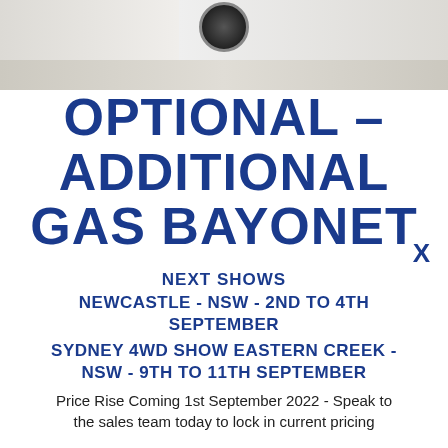[Figure (photo): Photo of a room corner with light wood laminate flooring and white walls, with a black circular fan/heater mounted or placed in the upper area]
OPTIONAL – ADDITIONAL GAS BAYONET
X
NEXT SHOWS
NEWCASTLE - NSW - 2ND TO 4TH SEPTEMBER
SYDNEY 4WD SHOW EASTERN CREEK - NSW - 9TH TO 11TH SEPTEMBER
Price Rise Coming 1st September 2022 - Speak to the sales team today to lock in current pricing